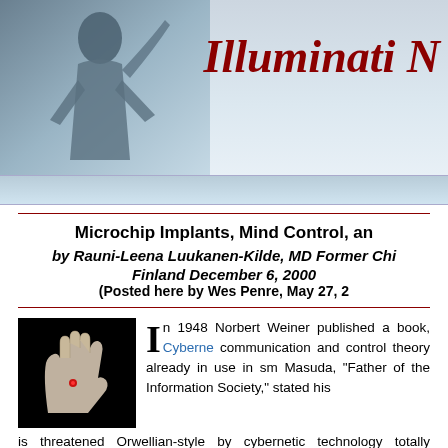[Figure (photo): Website banner header with a silhouette figure in blue-grey tones on the left and decorative background on the right with the partial text 'Illuminati N' in dark red italic serif font]
Microchip Implants, Mind Control, an by Rauni-Leena Luukanen-Kilde, MD Former Chi Finland December 6, 2000 (Posted here by Wes Penre, May 27, 2
[Figure (photo): Black background image of a hand with what appears to be a microchip implant marked with a red dot]
In 1948 Norbert Weiner published a book, Cybernet communication and control theory already in use in sm Masuda, "Father of the Information Society," stated his is threatened Orwellian-style by cybernetic technology totally unknown to links the brains of people via implanted microchips to satellites supercomputers.